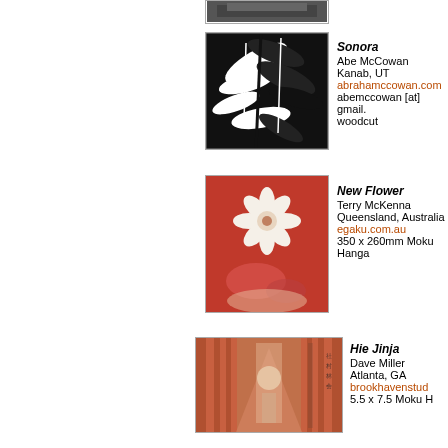[Figure (photo): Partial crop of artwork at top of page]
[Figure (illustration): Black and white woodcut print titled Sonora showing tropical leaves/plants]
Sonora
Abe McCowan
Kanab, UT
abrahamccowan.com
abemccowan [at] gmail.
woodcut
[Figure (illustration): Red Moku Hanga print titled New Flower showing a white lotus flower on red background]
New Flower
Terry McKenna
Queensland, Australia
egaku.com.au
350 x 260mm Moku Hanga
[Figure (photo): Photo of Hie Jinja shrine with red torii gates corridor and Japanese calligraphy]
Hie Jinja
Dave Miller
Atlanta, GA
brookhavenstud
5.5 x 7.5 Moku H